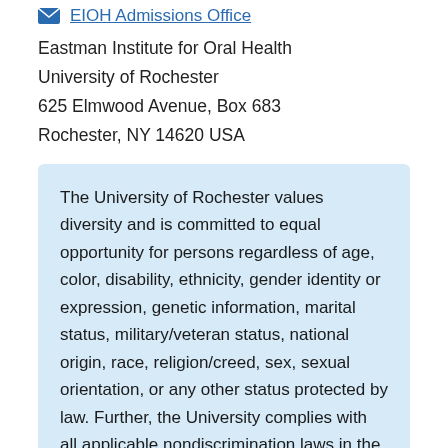EIOH Admissions Office
Eastman Institute for Oral Health
University of Rochester
625 Elmwood Avenue, Box 683
Rochester, NY 14620 USA
The University of Rochester values diversity and is committed to equal opportunity for persons regardless of age, color, disability, ethnicity, gender identity or expression, genetic information, marital status, military/veteran status, national origin, race, religion/creed, sex, sexual orientation, or any other status protected by law. Further, the University complies with all applicable nondiscrimination laws in the administration of its policies, programs, and activities.